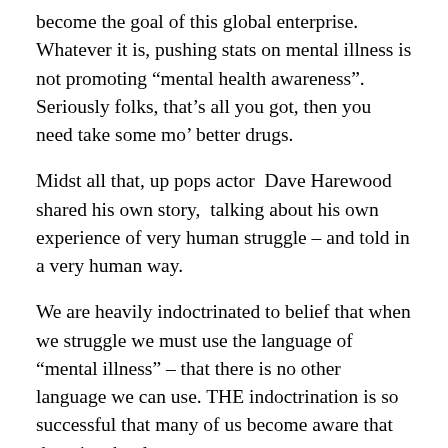become the goal of this global enterprise. Whatever it is, pushing stats on mental illness is not promoting “mental health awareness”. Seriously folks, that’s all you got, then you need take some mo’ better drugs.
Midst all that, up pops actor  Dave Harewood shared his own story,  talking about his own experience of very human struggle – and told in a very human way.
We are heavily indoctrinated to belief that when we struggle we must use the language of “mental illness” – that there is no other language we can use. THE indoctrination is so successful that many of us become aware that there is other language.
Every human struggle has at least half-a-dozen dehumanizing names we can label it with, and so label ourselves with.